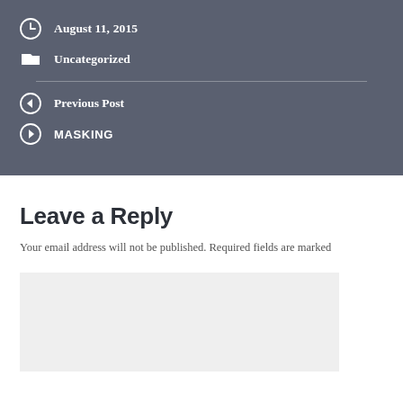August 11, 2015
Uncategorized
Previous Post
MASKING
Leave a Reply
Your email address will not be published. Required fields are marked